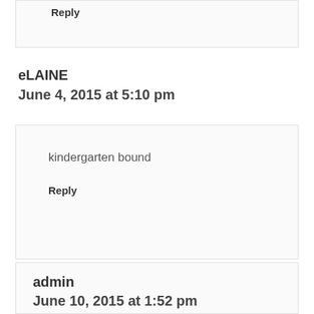Reply
eLAINE
June 4, 2015 at 5:10 pm
kindergarten bound
Reply
admin
June 10, 2015 at 1:52 pm